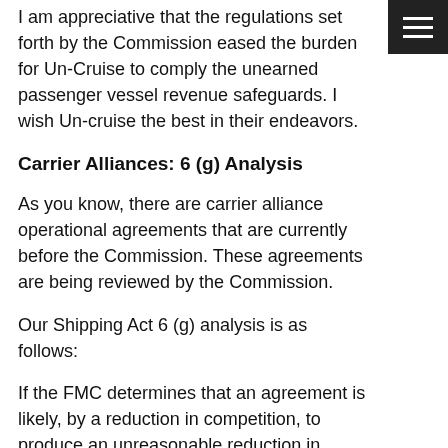I am appreciative that the regulations set forth by the Commission eased the burden for Un-Cruise to comply the unearned passenger vessel revenue safeguards. I wish Un-cruise the best in their endeavors.
Carrier Alliances: 6 (g) Analysis
As you know, there are carrier alliance operational agreements that are currently before the Commission. These agreements are being reviewed by the Commission.
Our Shipping Act 6 (g) analysis is as follows:
If the FMC determines that an agreement is likely, by a reduction in competition, to produce an unreasonable reduction in transportation service or an unreasonable increase in transportation cost, the Federal Maritime Commission may bring a civil action in the United States District Court for the District of Columbia to enjoin the operation of the agreement.